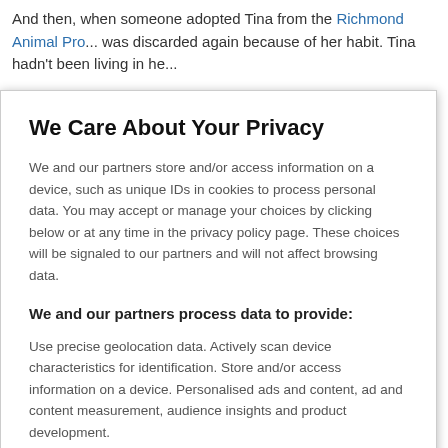And then, when someone adopted Tina from the Richmond Animal Pro... was discarded again because of her habit. Tina hadn't been living in he...
We Care About Your Privacy
We and our partners store and/or access information on a device, such as unique IDs in cookies to process personal data. You may accept or manage your choices by clicking below or at any time in the privacy policy page. These choices will be signaled to our partners and will not affect browsing data.
We and our partners process data to provide:
Use precise geolocation data. Actively scan device characteristics for identification. Store and/or access information on a device. Personalised ads and content, ad and content measurement, audience insights and product development.
List of Partners (vendors)
I Accept
Reject All